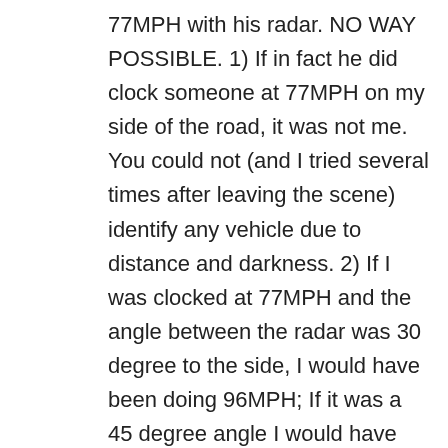77MPH with his radar. NO WAY POSSIBLE. 1) If in fact he did clock someone at 77MPH on my side of the road, it was not me. You could not (and I tried several times after leaving the scene) identify any vehicle due to distance and darkness. 2) If I was clocked at 77MPH and the angle between the radar was 30 degree to the side, I would have been doing 96MPH; If it was a 45 degree angle I would have been doing 107MPH. NOTE: I tried to explain this to the trooper but he did not understand what the angle had to do with it. When I brought up the Pathagorean formula and saw his eyes glass over I knew it was useless. The lights were on but nobody was home. 3) If I was doing